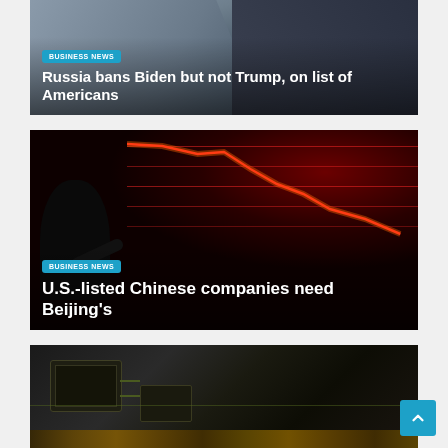[Figure (photo): Two politicians/officials standing, with American flags visible in the background]
BUSINESS NEWS
Russia bans Biden but not Trump, on list of Americans
[Figure (photo): Person watching red stock market screens showing a declining chart]
BUSINESS NEWS
U.S.-listed Chinese companies need Beijing's
[Figure (photo): Close-up of a circuit board with microchips]